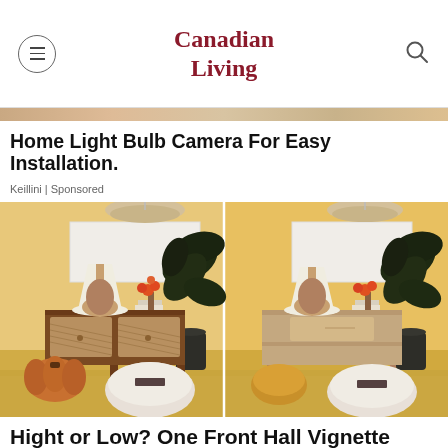Canadian Living
Home Light Bulb Camera For Easy Installation.
Keillini | Sponsored
[Figure (photo): Two side-by-side interior vignettes showing a front hall console table setup with lamp, plant, ottomans, and decorative accessories on a yellow/ochre rug against a warm yellow wall. Left version has a darker wood rattan console table; right version has a lighter, more minimal console table.]
Hight or Low? One Front Hall Vignette